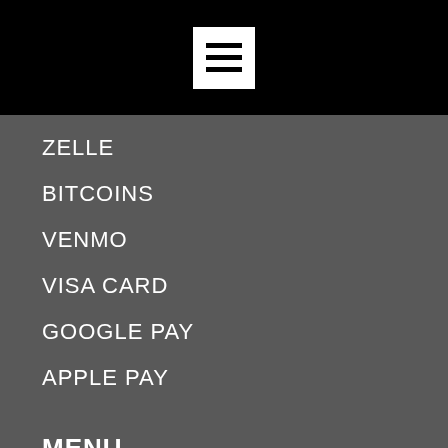[Figure (other): Black header bar with white hamburger/menu icon button centered]
ZELLE
BITCOINS
VENMO
VISA CARD
GOOGLE PAY
APPLE PAY
MENU
HOME
ABOUT US